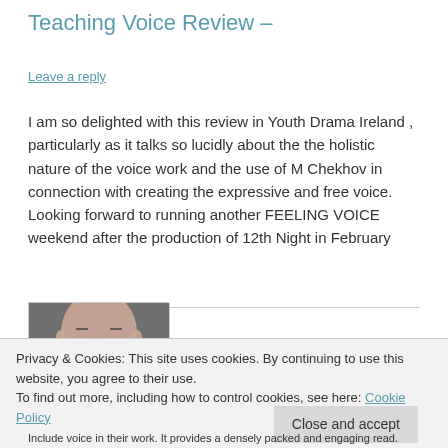Teaching Voice Review –
Leave a reply
I am so delighted with this review in Youth Drama Ireland , particularly as it talks so lucidly about the the holistic nature of the voice work and the use of M Chekhov in connection with creating the expressive and free voice.  Looking forward to running another FEELING VOICE weekend after the production of 12th Night in February
[Figure (photo): Person with open mouth appearing to shout or sing, shown from chin to forehead, black and white]
Privacy & Cookies: This site uses cookies. By continuing to use this website, you agree to their use.
To find out more, including how to control cookies, see here: Cookie Policy
Close and accept
Include voice in their work. It provides a densely packed and engaging read.